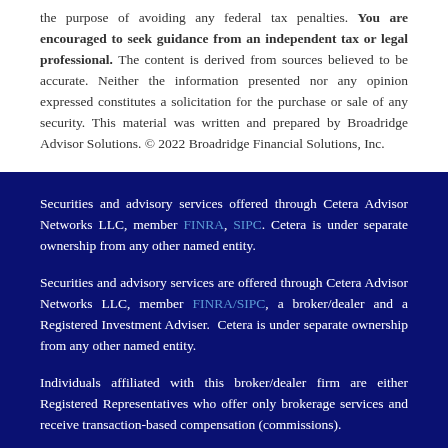the purpose of avoiding any federal tax penalties. You are encouraged to seek guidance from an independent tax or legal professional. The content is derived from sources believed to be accurate. Neither the information presented nor any opinion expressed constitutes a solicitation for the purchase or sale of any security. This material was written and prepared by Broadridge Advisor Solutions. © 2022 Broadridge Financial Solutions, Inc.
Securities and advisory services offered through Cetera Advisor Networks LLC, member FINRA, SIPC. Cetera is under separate ownership from any other named entity.
Securities and advisory services are offered through Cetera Advisor Networks LLC, member FINRA/SIPC, a broker/dealer and a Registered Investment Adviser. Cetera is under separate ownership from any other named entity.
Individuals affiliated with this broker/dealer firm are either Registered Representatives who offer only brokerage services and receive transaction-based compensation (commissions).